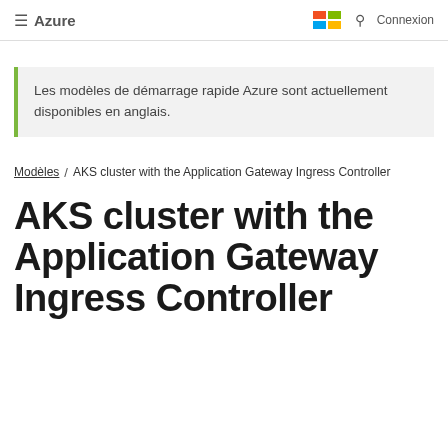≡ Azure  Connexion
Les modèles de démarrage rapide Azure sont actuellement disponibles en anglais.
Modèles / AKS cluster with the Application Gateway Ingress Controller
AKS cluster with the Application Gateway Ingress Controller